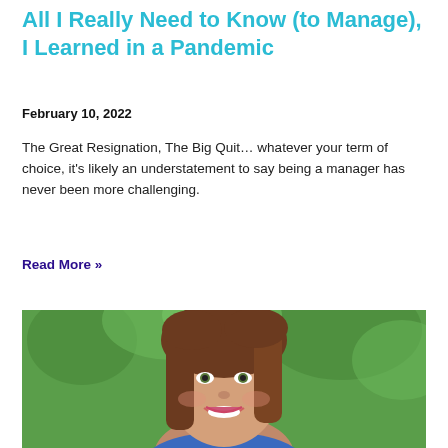All I Really Need to Know (to Manage), I Learned in a Pandemic
February 10, 2022
The Great Resignation, The Big Quit... whatever your term of choice, it's likely an understatement to say being a manager has never been more challenging.
Read More »
[Figure (photo): Headshot of a smiling woman with brown hair against a green leafy background, wearing a blue floral top.]